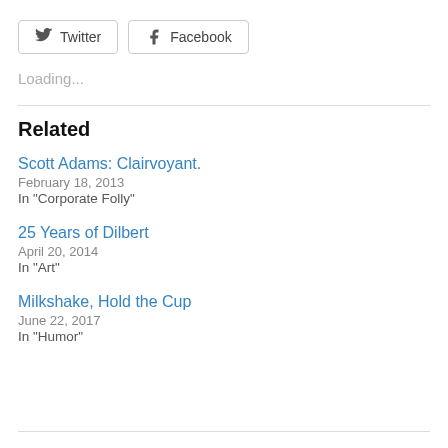[Figure (other): Twitter and Facebook social share buttons]
Loading...
Related
Scott Adams: Clairvoyant.
February 18, 2013
In "Corporate Folly"
25 Years of Dilbert
April 20, 2014
In "Art"
Milkshake, Hold the Cup
June 22, 2017
In "Humor"